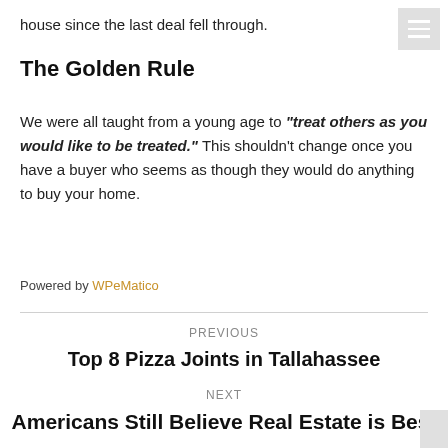house since the last deal fell through.
The Golden Rule
We were all taught from a young age to “treat others as you would like to be treated.” This shouldn’t change once you have a buyer who seems as though they would do anything to buy your home.
Powered by WPeMatico
PREVIOUS
Top 8 Pizza Joints in Tallahassee
NEXT
Americans Still Believe Real Estate is Best